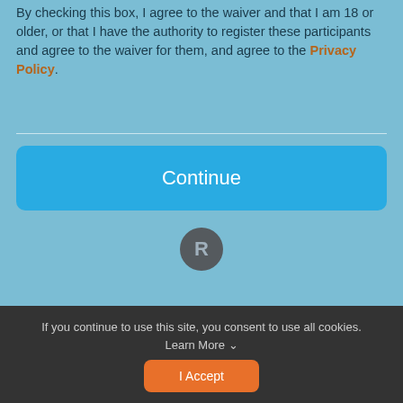By checking this box, I agree to the waiver and that I am 18 or older, or that I have the authority to register these participants and agree to the waiver for them, and agree to the Privacy Policy.
[Figure (other): Continue button - large blue rounded rectangle with white 'Continue' text]
[Figure (other): R avatar icon - dark circle with letter R]
If you continue to use this site, you consent to use all cookies. Learn More ∨
[Figure (other): I Accept button - orange rounded rectangle with white text]